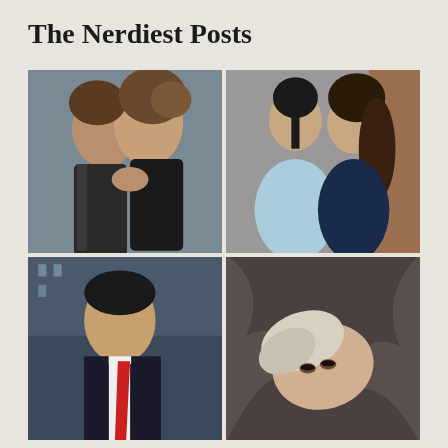The Nerdiest Posts
[Figure (photo): Two men kissing outdoors, one in a leather jacket with curly hair]
[Figure (photo): Two Asian women posing together smiling, one in light blue dress one in dark blue]
[Figure (photo): Man in suit with red tie looking seriously at camera, city background]
[Figure (photo): Person with light/white hair lying down looking upward]